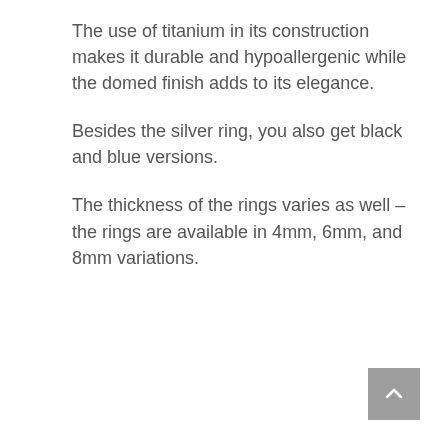The use of titanium in its construction makes it durable and hypoallergenic while the domed finish adds to its elegance.
Besides the silver ring, you also get black and blue versions.
The thickness of the rings varies as well – the rings are available in 4mm, 6mm, and 8mm variations.